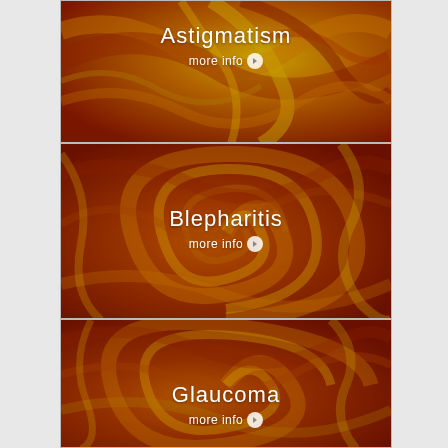[Figure (infographic): Eye condition card for Astigmatism with abstract orange-red brushstroke background, title 'Astigmatism' and 'more info' link with arrow]
[Figure (infographic): Eye condition card for Blepharitis with abstract orange-red swirl background, title 'Blepharitis' and 'more info' link with arrow]
[Figure (infographic): Eye condition card for Glaucoma with abstract orange-red swirl background, title 'Glaucoma' and 'more info' link with arrow]